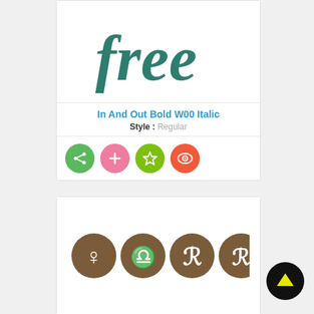[Figure (screenshot): Card showing font preview with italic script 'free' text in dark teal color]
In And Out Bold W00 Italic
Style : Regular
[Figure (other): Action buttons: share (green), add (pink), star (lime green), eye/preview (red-orange)]
[Figure (screenshot): Second card showing font specimen with circular icon glyphs in brown/dark taupe color]
[Figure (other): Scroll-to-top button, black circle with yellow upward arrow]